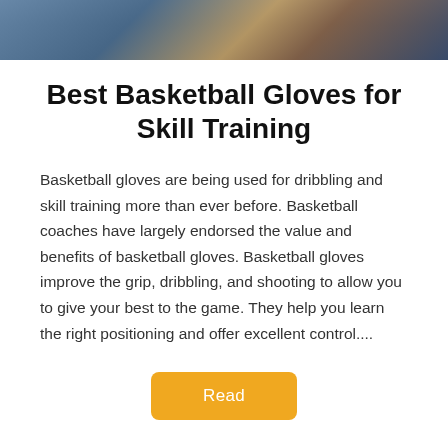[Figure (photo): Cropped photo of basketball players, showing hands near a basketball, dark athletic setting]
Best Basketball Gloves for Skill Training
Basketball gloves are being used for dribbling and skill training more than ever before. Basketball coaches have largely endorsed the value and benefits of basketball gloves. Basketball gloves improve the grip, dribbling, and shooting to allow you to give your best to the game. They help you learn the right positioning and offer excellent control....
Read